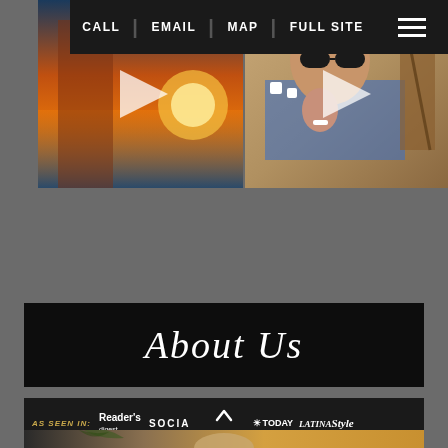CALL | EMAIL | MAP | FULL SITE
[Figure (photo): Two side-by-side video thumbnails: left shows a woman in white dress at sunset by ocean, right shows a woman with sunglasses and jewelry at a beach with thatched umbrella]
About Us
[Figure (infographic): AS SEEN IN: Reader's Digest, Social magazine, TODAY, Latina Style logos bar with scroll-to-top button, and bottom photo of person in warm-toned setting]